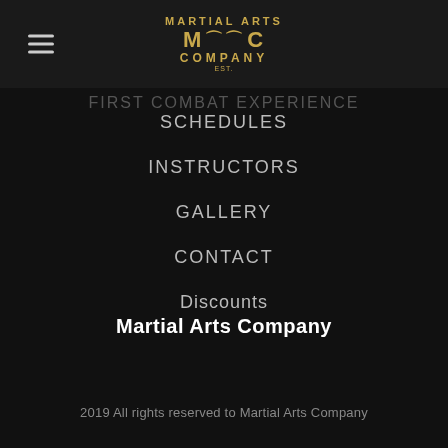[Figure (logo): Martial Arts Company logo with golden text and wing emblem on dark header bar]
FIRST COMBAT EXPERIENCE
SCHEDULES
INSTRUCTORS
GALLERY
CONTACT
Discounts
Martial Arts Company
2019 All rights reserved to Martial Arts Company